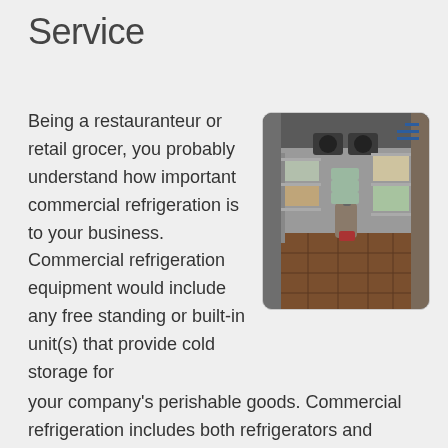Service
Being a restauranteur or retail grocer, you probably understand how important commercial refrigeration is to your business.  Commercial refrigeration equipment would include any free standing or built-in unit(s) that provide cold storage for your company's perishable goods.  Commercial refrigeration includes both refrigerators and freezers which are available in a wide variety of configurations including walk-ins, reach-ins, and commercial refrigeration display cases.
[Figure (photo): Interior of a commercial walk-in refrigerator or cooler showing metal shelving units stocked with food containers, kegs and supplies on a brown tiled floor, with refrigeration units visible on the ceiling.]